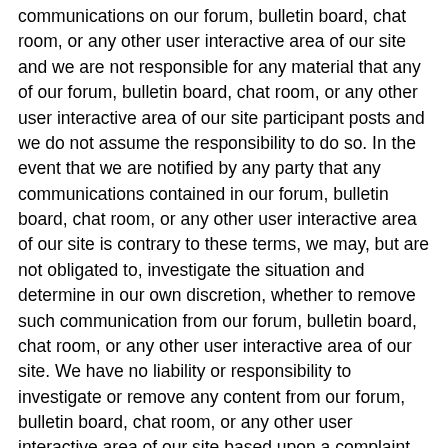communications on our forum, bulletin board, chat room, or any other user interactive area of our site and we are not responsible for any material that any of our forum, bulletin board, chat room, or any other user interactive area of our site participant posts and we do not assume the responsibility to do so. In the event that we are notified by any party that any communications contained in our forum, bulletin board, chat room, or any other user interactive area of our site is contrary to these terms, we may, but are not obligated to, investigate the situation and determine in our own discretion, whether to remove such communication from our forum, bulletin board, chat room, or any other user interactive area of our site. We have no liability or responsibility to investigate or remove any content from our forum, bulletin board, chat room, or any other user interactive area of our site based upon a complaint or otherwise.
(c) Your Reliance at Your Risk. We do not make any representations or warranties as to the truth or accuracy of